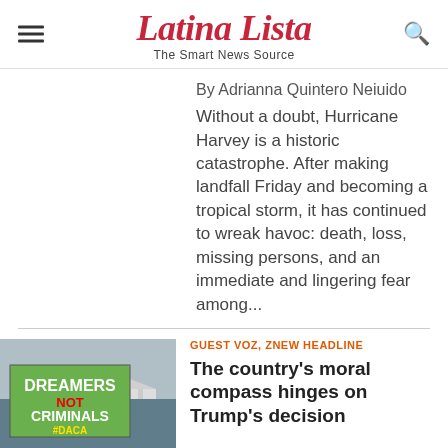Latina Lista — The Smart News Source
By Adrianna Quintero Neiuido
Without a doubt, Hurricane Harvey is a historic catastrophe. After making landfall Friday and becoming a tropical storm, it has continued to wreak havoc: death, loss, missing persons, and an immediate and lingering fear among...
GUEST VOZ, ZNEW HEADLINE
The country's moral compass hinges on Trump's decision